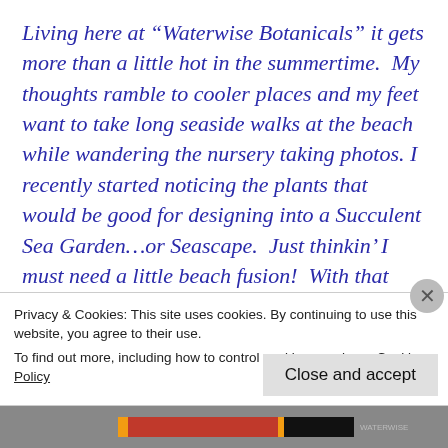Living here at “Waterwise Botanicals” it gets more than a little hot in the summertime.  My thoughts ramble to cooler places and my feet want to take long seaside walks at the beach while wandering the nursery taking photos. I recently started noticing the plants that would be good for designing into a Succulent Sea Garden…or Seascape.  Just thinkin’ I must need a little beach fusion!  With that thought in mind, I have put together some photos for you to imagine a sea garden on land, one that can
Privacy & Cookies: This site uses cookies. By continuing to use this website, you agree to their use.
To find out more, including how to control cookies, see here: Cookie Policy
Close and accept